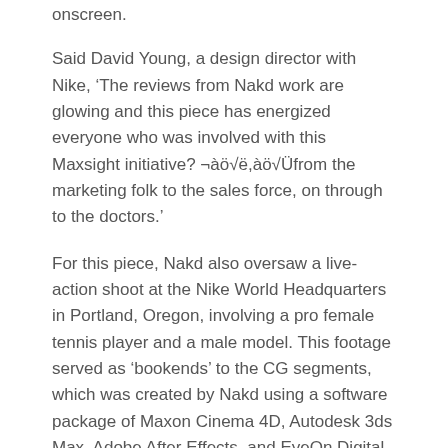onscreen.
Said David Young, a design director with Nike, ‘The reviews from Nakd work are glowing and this piece has energized everyone who was involved with this Maxsight initiative? ¬àö√ë,àö√Üfrom the marketing folk to the sales force, on through to the doctors.’
For this piece, Nakd also oversaw a live-action shoot at the Nike World Headquarters in Portland, Oregon, involving a pro female tennis player and a male model. This footage served as ‘bookends’ to the CG segments, which was created by Nakd using a software package of Maxon Cinema 4D, Autodesk 3ds Max, Adobe After Effects, and EyeOn Digital Fusion running on Mac and PC computers. Rendering was done remotely at Rendercore.
About Nakd
Formerly out of Rio de Janeiro, Brazil, Nakd is now based in Toronto, Canada, where it is continuing the expansive vision of a company whose inspiration ranges from extreme color to